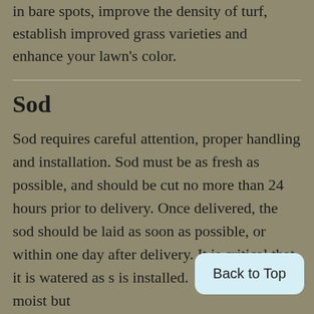in bare spots, improve the density of turf, establish improved grass varieties and enhance your lawn's color.
Sod
Sod requires careful attention, proper handling and installation. Sod must be as fresh as possible, and should be cut no more than 24 hours prior to delivery. Once delivered, the sod should be laid as soon as possible, or within one day after delivery. It is critical that it is watered as soon as it is installed.  Keep the sod moist but